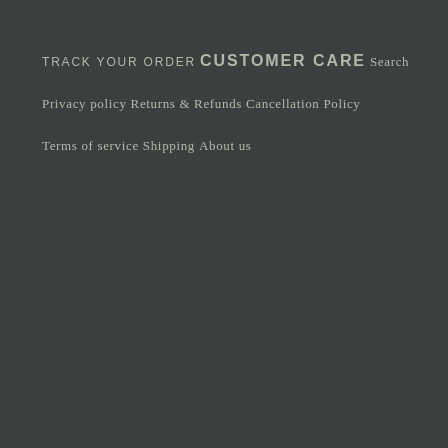TRACK YOUR ORDER
CUSTOMER CARE
Search
Privacy policy
Returns & Refunds
Cancellation Policy
Terms of service
Shipping
About us